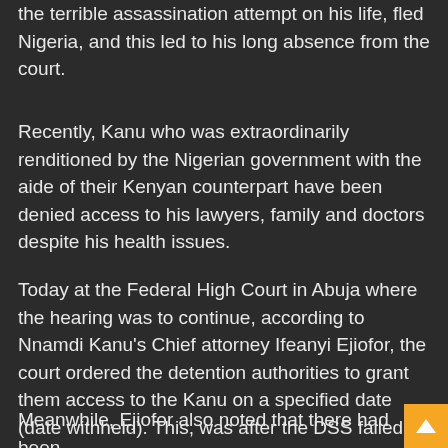the terrible assassination attempt on his life, fled Nigeria, and this led to his long absence from the court.
Recently, Kanu who was extraordinarily renditioned by the Nigerian government with the aide of their Kenyan counterpart have been denied access to his lawyers, family and doctors despite his health issues.
Today at the Federal High Court in Abuja where the hearing was to continue, according to Nnamdi Kanu's Chief attorney Ifeanyi Ejiofor, the court ordered the detention authorities to grant them access to the Kanu on a specified date (date withheld). This, was after the DSS failed to provide the IPOB leader in court.
Meanwhile, Ejiofor also noted that there had been